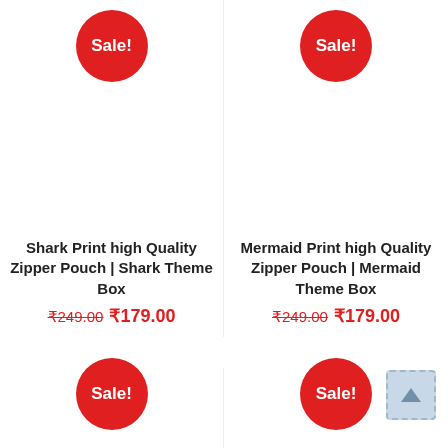[Figure (other): Sale badge red circle for Shark Print product]
[Figure (other): Sale badge red circle for Mermaid Print product]
Shark Print high Quality Zipper Pouch | Shark Theme Box
₹249.00 ₹179.00
Mermaid Print high Quality Zipper Pouch | Mermaid Theme Box
₹249.00 ₹179.00
[Figure (other): Partial Sale badge bottom left]
[Figure (other): Partial Sale badge bottom right]